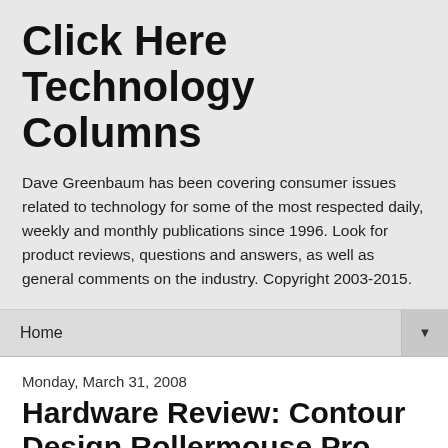Click Here Technology Columns
Dave Greenbaum has been covering consumer issues related to technology for some of the most respected daily, weekly and monthly publications since 1996. Look for product reviews, questions and answers, as well as general comments on the industry. Copyright 2003-2015.
Home ▼
Monday, March 31, 2008
Hardware Review: Contour Design Rollermouse Pro
They say there is no such thing as love at first sight, unless of course you are watching a Hollywood movie. On the big screen, you see your life partner from across the